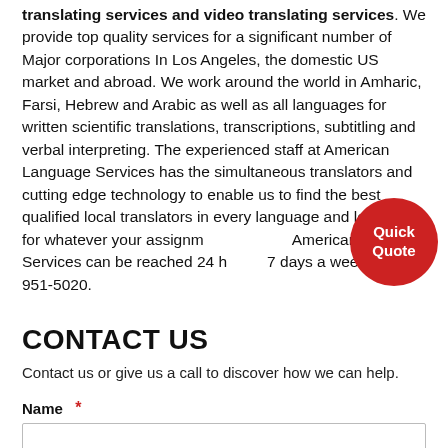translating services and video translating services. We provide top quality services for a significant number of Major corporations In Los Angeles, the domestic US market and abroad. We work around the world in Amharic, Farsi, Hebrew and Arabic as well as all languages for written scientific translations, transcriptions, subtitling and verbal interpreting. The experienced staff at American Language Services has the simultaneous translators and cutting edge technology to enable us to find the best qualified local translators in every language and location for whatever your assignment. American language Services can be reached 24 hours, 7 days a week at 800-951-5020.
[Figure (other): Red circular button with text 'Quick Quote']
CONTACT US
Contact us or give us a call to discover how we can help.
Name *
First